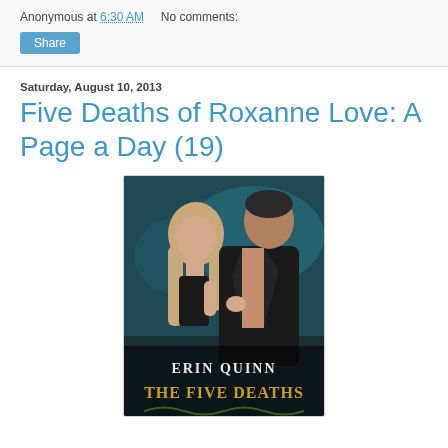Anonymous at 6:30 AM    No comments:
Share
Saturday, August 10, 2013
Five Deaths of Roxanne Love: A Page a Day (19)
[Figure (photo): Book cover of 'The Five Deaths of Roxanne Love' by Erin Quinn, showing a woman with long blonde hair and a shirtless man in a dark jacket, on a teal/dark background. The author name 'ERIN QUINN' and partial title 'THE FIVE DEATHS' appear at the bottom.]